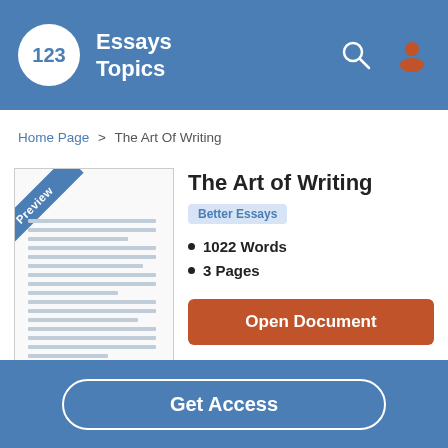123 Essays Topics
Home Page > The Art Of Writing
[Figure (illustration): Document preview thumbnail with blue 'Preview' diagonal banner in top-left corner and horizontal lines representing text on a page]
The Art of Writing
Better Essays
1022 Words
3 Pages
Open Document
Get Access